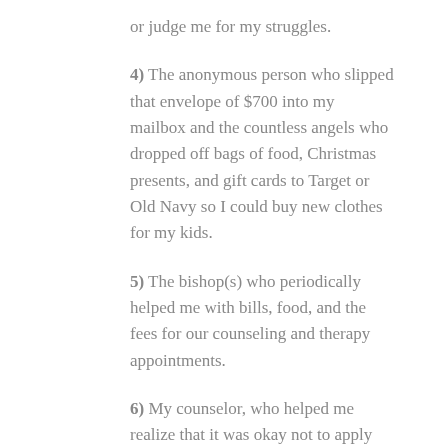or judge me for my struggles.
4) The anonymous person who slipped that envelope of $700 into my mailbox and the countless angels who dropped off bags of food, Christmas presents, and gift cards to Target or Old Navy so I could buy new clothes for my kids.
5) The bishop(s) who periodically helped me with bills, food, and the fees for our counseling and therapy appointments.
6) My counselor, who helped me realize that it was okay not to apply for law review and okay not to be in the top half of my class. I didn't want to be on law review, I was